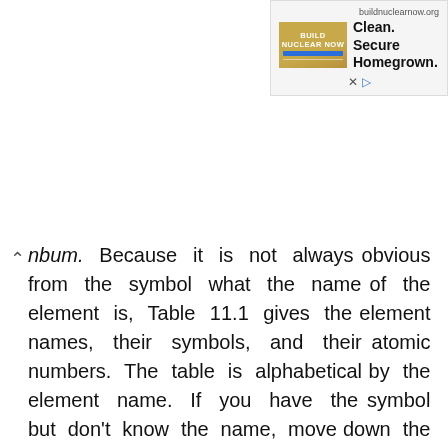[Figure (other): Advertisement banner for buildnuclearnow.org reading 'Build Nuclear Now - Clean. Secure. Homegrown.' with a golden/tan colored ad image and blue bar graphic, with close and play controls below.]
nbum. Because it is not always obvious from the symbol what the name of the element is, Table 11.1 gives the element names, their symbols, and their atomic numbers. The table is alphabetical by the element name. If you have the symbol but don't know the name, move down the symbol column until you find the one you want.
The Periodic Table (Figure 11.4) is coded for metals (white), semimetals (semiconductors, dark gray), and nonmetals (light gray). The semimetals are